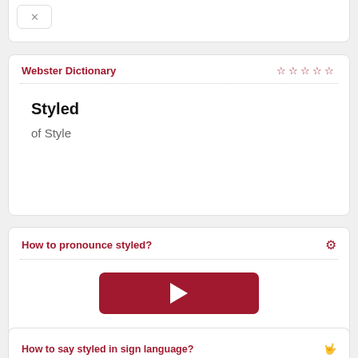[Figure (screenshot): Partial top card with X close button, white rounded card partially visible at top of page]
Webster Dictionary
Styled
of Style
How to pronounce styled?
[Figure (other): Dark red play button (audio pronunciation player)]
How to say styled in sign language?